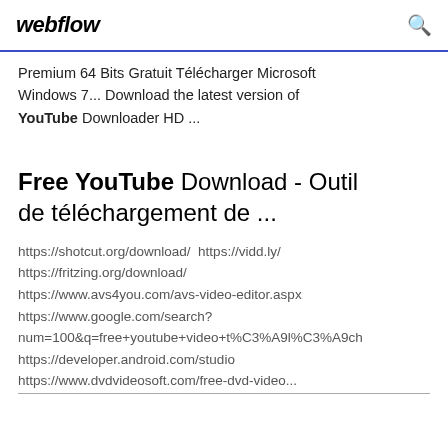webflow
Premium 64 Bits Gratuit Télécharger Microsoft Windows 7... Download the latest version of YouTube Downloader HD ...
Free YouTube Download - Outil de téléchargement de ...
https://shotcut.org/download/ https://vidd.ly/ https://fritzing.org/download/ https://www.avs4you.com/avs-video-editor.aspx https://www.google.com/search?num=100&q=free+youtube+video+t%C3%A9l%C3%A9ch https://developer.android.com/studio https://www.dvdvideosoft.com/free-dvd-video...